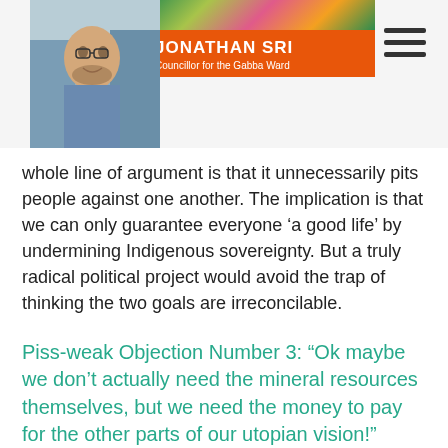JONATHAN SRI — Councillor for the Gabba Ward
whole line of argument is that it unnecessarily pits people against one another. The implication is that we can only guarantee everyone 'a good life' by undermining Indigenous sovereignty. But a truly radical political project would avoid the trap of thinking the two goals are irreconcilable.
Piss-weak Objection Number 3: "Ok maybe we don't actually need the mineral resources themselves, but we need the money to pay for the other parts of our utopian vision!"